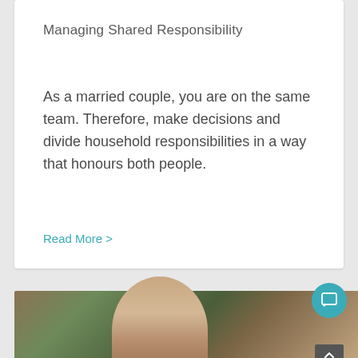Managing Shared Responsibility
As a married couple, you are on the same team. Therefore, make decisions and divide household responsibilities in a way that honours both people.
Read More >
[Figure (photo): Partial photo of a person visible at the bottom of the page, with green foliage background]